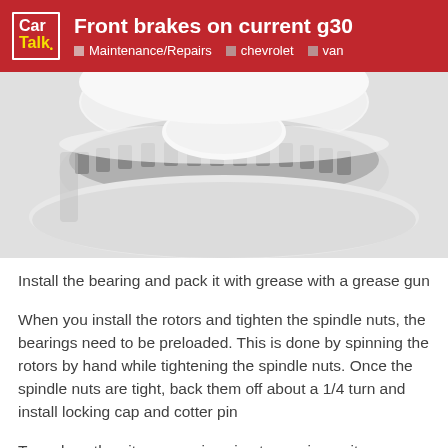Front brakes on current g30 | Maintenance/Repairs | chevrolet | van
[Figure (photo): Close-up photo of a white brake rotor/hub assembly showing the rotor disc and bearing area from below]
Install the bearing and pack it with grease with a grease gun
When you install the rotors and tighten the spindle nuts, the bearings need to be preloaded. This is done by spinning the rotors by hand while tightening the spindle nuts. Once the spindle nuts are tight, back them off about a 1/4 turn and install locking cap and cotter pin
To replace the pitman arm is going to require a pitman arm puller